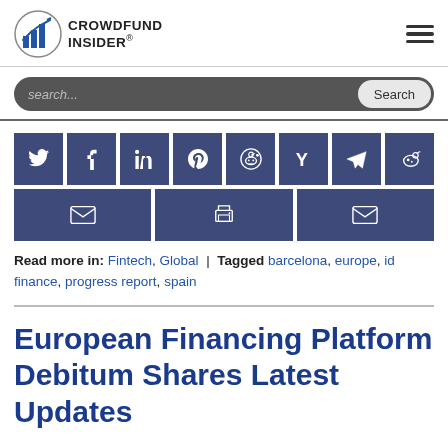CROWDFUND INSIDER
search...  Search
[Figure (infographic): Social sharing buttons grid: Twitter, Facebook, LinkedIn, Pinterest, Reddit, Hacker News, Telegram, Weibo (top row); Email, Print, Email (bottom row) — all dark navy blue square buttons with white icons]
Read more in: Fintech, Global  |  Tagged barcelona, europe, id finance, progress report, spain
European Financing Platform Debitum Shares Latest Updates